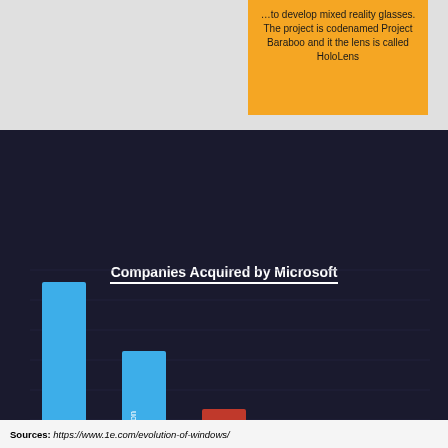…to develop mixed reality glasses. The project is codenamed Project Baraboo and it the lens is called HoloLens
[Figure (bar-chart): Companies Acquired by Microsoft]
Sources: https://www.1e.com/evolution-of-windows/